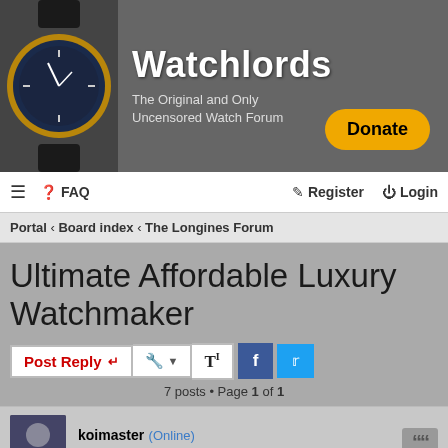Watchlords – The Original and Only Uncensored Watch Forum
FAQ  Register  Login
Portal ‹ Board index ‹ The Longines Forum
Ultimate Affordable Luxury Watchmaker
Post Reply  7 posts • Page 1 of 1
koimaster (Online) Founder
Ultimate Affordable Luxury Watchmaker
June 10th 2020, 9:45am
[Figure (screenshot): Video thumbnail showing Watchlords logo and title: A Classy Dress Watch Respecting The P...]